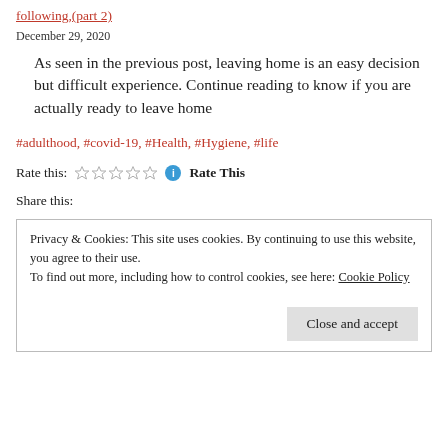following,(part 2)
December 29, 2020
As seen in the previous post, leaving home is an easy decision but difficult experience. Continue reading to know if you are actually ready to leave home
#adulthood, #covid-19, #Health, #Hygiene, #life
Rate this: ☆☆☆☆☆ ℹ Rate This
Share this:
Privacy & Cookies: This site uses cookies. By continuing to use this website, you agree to their use.
To find out more, including how to control cookies, see here: Cookie Policy
Close and accept